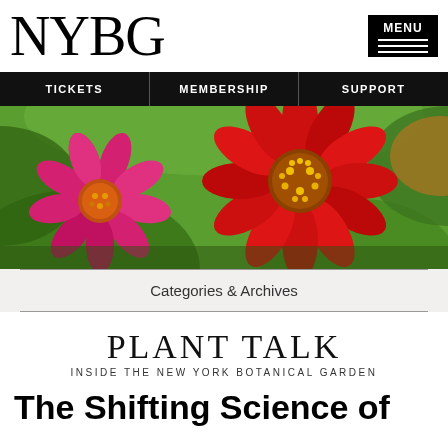NYBG
[Figure (screenshot): Navigation bar with TICKETS, MEMBERSHIP, SUPPORT links on black background]
[Figure (photo): Close-up photograph of vibrant pink and red daisy/zinnia flowers with yellow centers against a green blurred background]
Categories & Archives
PLANT TALK
INSIDE THE NEW YORK BOTANICAL GARDEN
The Shifting Science of